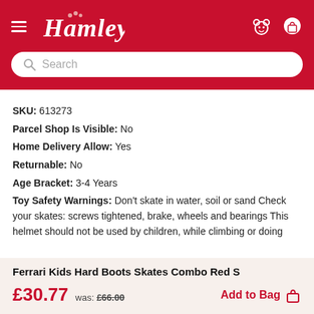[Figure (logo): Hamleys logo in white italic script on red header background, with hamburger menu icon on left and bear/bag icons on right, and a search bar below]
SKU:  613273
Parcel Shop Is Visible:  No
Home Delivery Allow:  Yes
Returnable:  No
Age Bracket:  3-4 Years
Toy Safety Warnings:  Don't skate in water, soil or sand Check your skates: screws tightened, brake, wheels and bearings This helmet should not be used by children, while climbing or doing
Ferrari Kids Hard Boots Skates Combo Red S
£30.77  was: £66.00  Add to Bag